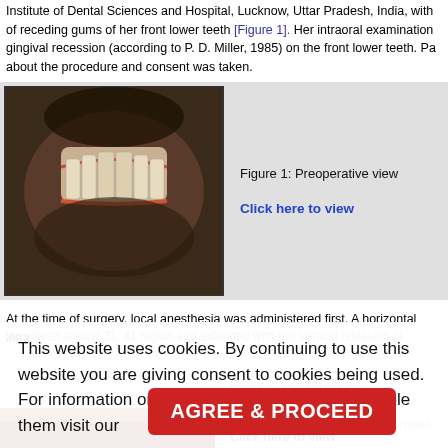Institute of Dental Sciences and Hospital, Lucknow, Uttar Pradesh, India, with of receding gums of her front lower teeth [Figure 1]. Her intraoral examination gingival recession (according to P. D. Miller, 1985) on the front lower teeth. Pa about the procedure and consent was taken.
[Figure (photo): Preoperative intraoral view showing gingival recession of front lower teeth]
Figure 1: Preoperative view
Click here to view
At the time of surgery, local anesthesia was administered first. A horizontal intra was given around 31, 41 region and extended with two vertical releasing inc ss flap was
This website uses cookies. By continuing to use this website you are giving consent to cookies being used. For information on cookies and how you can disable them visit our
Privacy and Cookie Policy.
AGREE & PROCEED
Figure 2: Incision placed
Click here to view
[Figure (photo): Partial thickness flap elevated]
Figure 3: Partial thickness flap elevated
Click here to view